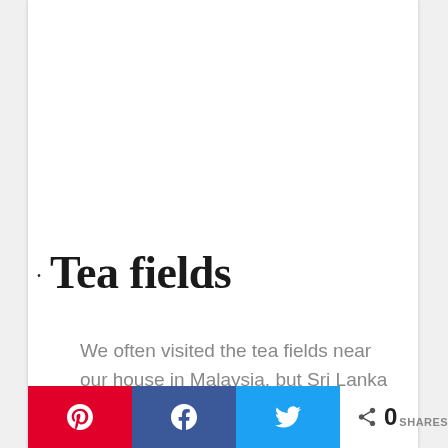Tea fields
We often visited the tea fields near our house in Malaysia, but Sri Lanka is on a whole different level.  Remember, it was called Ceylon and is the largest
0 SHARES [Pinterest] [Facebook] [Twitter]